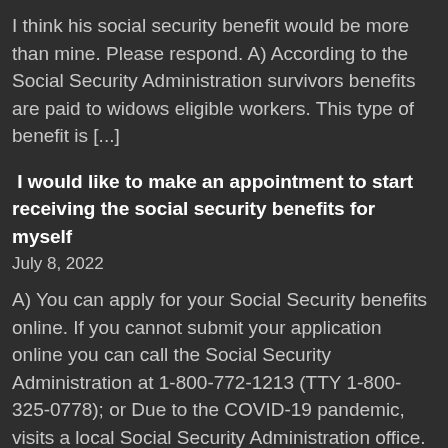I think his social security benefit would be more than mine. Please respond. A) According to the Social Security Administration survivors benefits are paid to widows eligible workers. This type of benefit is [...]
I would like to make an appointment to start receiving the social security benefits for myself
July 8, 2022
A) You can apply for your Social Security benefits online. If you cannot submit your application online you can call the Social Security Administration at 1-800-772-1213 (TTY 1-800-325-0778); or Due to the COVID-19 pandemic, visits a local Social Security Administration office. Visits for most offices are usually by appointment